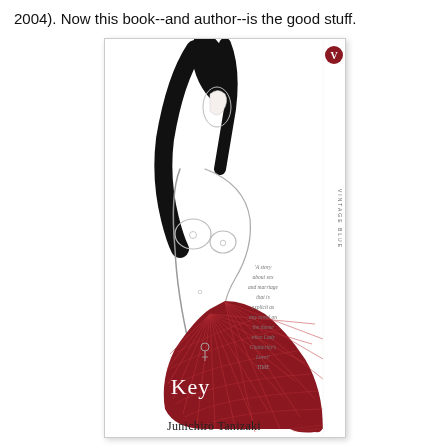2004). Now this book--and author--is the good stuff.
[Figure (illustration): Book cover of 'The Key' by Junichirō Tanizaki, Vintage Blue edition. Features a minimalist line drawing of a reclining nude figure with black hair against a white background, with a flowing red/dark crimson decorative fabric pattern. The spine shows the Vintage Blue logo (red circle with 'V'). A pull quote reads: 'A story about sex and marriage that is explicit as any novel on the theme since Lady Chatterley's Lover' TIME. Title 'The Key' appears in white serif text. Author name 'Junichirō Tanizaki' appears at the bottom.]